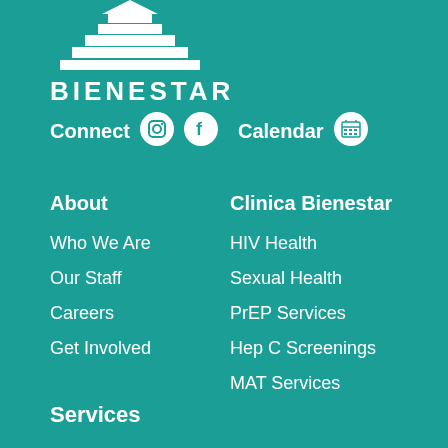[Figure (logo): Bienestar pyramid logo with stepped/layered triangle shape in white]
BIENESTAR
Connect  Calendar
About
Clinica Bienestar
Who We Are
Our Staff
Careers
Get Involved
HIV Health
Sexual Health
PrEP Services
Hep C Screenings
MAT Services
Services